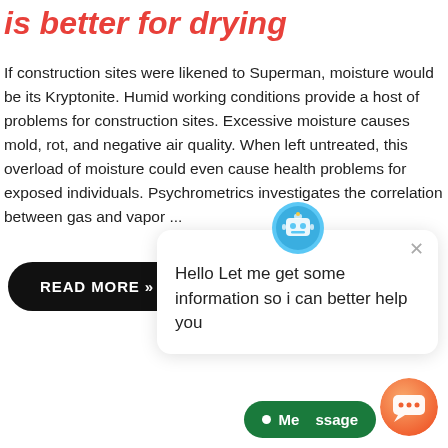is better for drying
If construction sites were likened to Superman, moisture would be its Kryptonite. Humid working conditions provide a host of problems for construction sites. Excessive moisture causes mold, rot, and negative air quality. When left untreated, this overload of moisture could even cause health problems for exposed individuals. Psychrometrics investigates the correlation between gas and vapor ...
READ MORE »
Hello Let me get some information so i can better help you